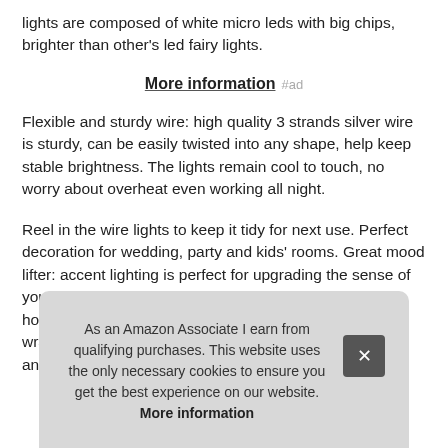lights are composed of white micro leds with big chips, brighter than other's led fairy lights.
More information #ad
Flexible and sturdy wire: high quality 3 strands silver wire is sturdy, can be easily twisted into any shape, help keep stable brightness. The lights remain cool to touch, no worry about overheat even working all night.
Reel in the wire lights to keep it tidy for next use. Perfect decoration for wedding, party and kids' rooms. Great mood lifter: accent lighting is perfect for upgrading the sense of your plac... holi... wra... any...
As an Amazon Associate I earn from qualifying purchases. This website uses the only necessary cookies to ensure you get the best experience on our website. More information